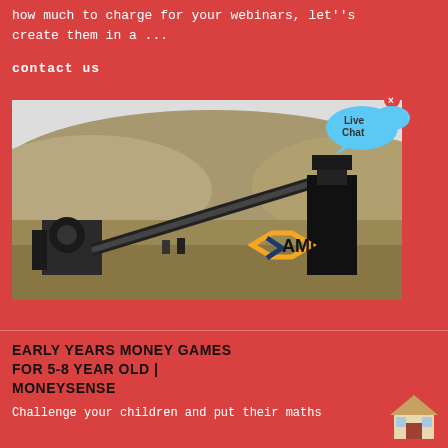how much to charge for your webinars, let''s create them in a ...
contact us
[Figure (photo): Industrial mining/crushing equipment with conveyor belt in an open landscape. AMC logo visible in lower right corner of the photo. A 'Live Chat' speech bubble overlay appears in the upper right.]
EARLY YEARS MONEY GAMES FOR 5-8 YEAR OLD | MONEYSENSE
Challenge your children and put their maths